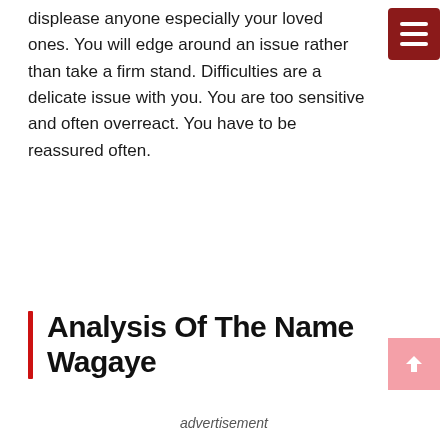displease anyone especially your loved ones. You will edge around an issue rather than take a firm stand. Difficulties are a delicate issue with you. You are too sensitive and often overreact. You have to be reassured often.
Analysis Of The Name Wagaye
advertisement